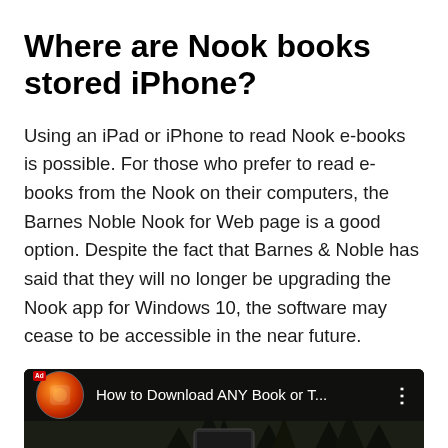Where are Nook books stored iPhone?
Using an iPad or iPhone to read Nook e-books is possible. For those who prefer to read e-books from the Nook on their computers, the Barnes Noble Nook for Web page is a good option. Despite the fact that Barnes & Noble has said that they will no longer be upgrading the Nook app for Windows 10, the software may cease to be accessible in the near future.
[Figure (screenshot): Video thumbnail showing 'How to Download ANY Book or T...' with a channel avatar icon on a dark background]